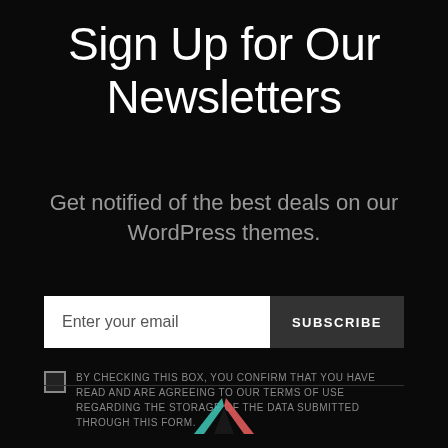Sign Up for Our Newsletters
Get notified of the best deals on our WordPress themes.
[Figure (screenshot): Email subscription form with a white input field labeled 'Enter your email' and a dark 'SUBSCRIBE' button]
BY CHECKING THIS BOX, YOU CONFIRM THAT YOU HAVE READ AND ARE AGREEING TO OUR TERMS OF USE REGARDING THE STORAGE OF THE DATA SUBMITTED THROUGH THIS FORM.
[Figure (logo): Partial colorful logo (teal and pink/red) visible at the bottom center of the page]